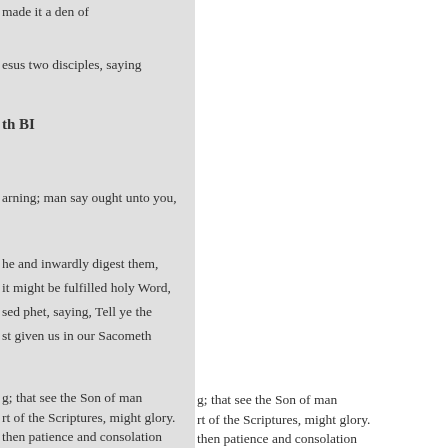made it a den of
esus two disciples, saying
th BI
arning; man say ought unto you,
he and inwardly digest them,
it might be fulfilled holy Word,
sed phet, saying, Tell ye the
st given us in our Sacometh
e the powers of heaven shall be ·
g; that see the Son of man
rt of the Scriptures, might glory.
then patience and consolation
r redemption draweth wards
v a parable, Behold the fig tree,